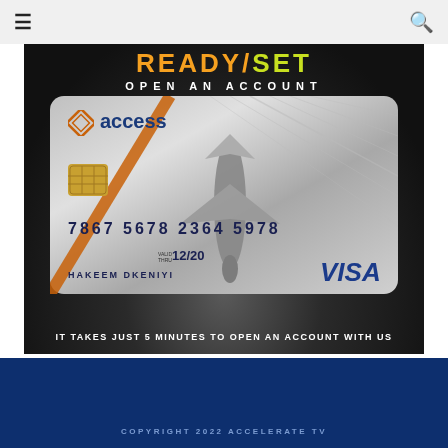≡  🔍
[Figure (photo): Access Bank advertisement showing a silver VISA credit card (card number 7867 5678 2364 5978, expiry 12/20, cardholder HAKEEM DKENIYI) with an airplane superimposed over it, on a dark background with an orange diagonal stripe, text reads READY SET OPEN AN ACCOUNT and IT TAKES JUST 5 MINUTES TO OPEN AN ACCOUNT WITH US]
COPYRIGHT 2022 ACCELERATE TV